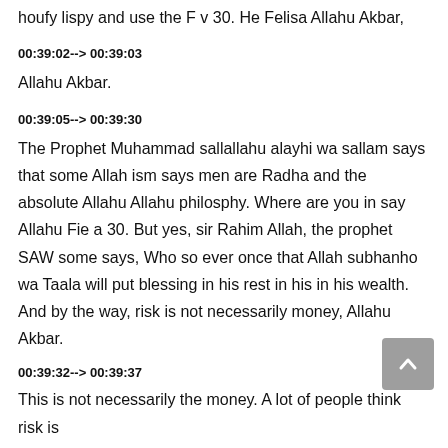houfy lispy and use the F v 30. He Felisa Allahu Akbar,
00:39:02--> 00:39:03
Allahu Akbar.
00:39:05--> 00:39:30
The Prophet Muhammad sallallahu alayhi wa sallam says that some Allah ism says men are Radha and the absolute Allahu Allahu philosphy. Where are you in say Allahu Fie a 30. But yes, sir Rahim Allah, the prophet SAW some says, Who so ever once that Allah subhanho wa Taala will put blessing in his rest in his in his wealth. And by the way, risk is not necessarily money, Allahu Akbar.
00:39:32--> 00:39:37
This is not necessarily the money. A lot of people think risk is